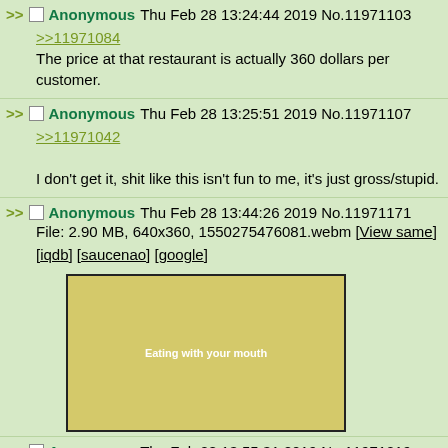>> Anonymous Thu Feb 28 13:24:44 2019 No.11971103
>>11971084
The price at that restaurant is actually 360 dollars per customer.
>> Anonymous Thu Feb 28 13:25:51 2019 No.11971107
>>11971042
I don't get it, shit like this isn't fun to me, it's just gross/stupid.
>> Anonymous Thu Feb 28 13:44:26 2019 No.11971171
File: 2.90 MB, 640x360, 1550275476081.webm [View same] [iqdb] [saucenao] [google]
[Figure (screenshot): Yellow video thumbnail with white text reading 'Eating with your mouth']
>> Anonymous Thu Feb 28 13:55:31 2019 No.11971219
>>11970813